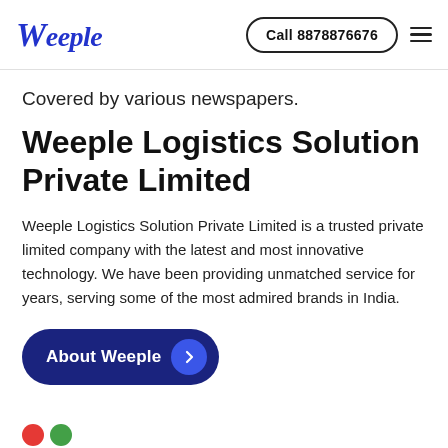Weeple  Call 8878876676
Covered by various newspapers.
Weeple Logistics Solution Private Limited
Weeple Logistics Solution Private Limited is a trusted private limited company with the latest and most innovative technology. We have been providing unmatched service for years, serving some of the most admired brands in India.
About Weeple